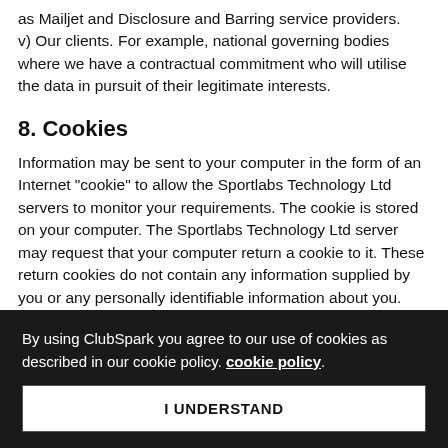as Mailjet and Disclosure and Barring service providers. v) Our clients. For example, national governing bodies where we have a contractual commitment who will utilise the data in pursuit of their legitimate interests.
8. Cookies
Information may be sent to your computer in the form of an Internet "cookie" to allow the Sportlabs Technology Ltd servers to monitor your requirements. The cookie is stored on your computer. The Sportlabs Technology Ltd server may request that your computer return a cookie to it. These return cookies do not contain any information supplied by you or any personally identifiable information about you.
Such measures are necessary to allow the Sportlabs Technology Ltd to measure the usability of the systems, which will help in its
By using ClubSpark you agree to our use of cookies as described in our cookie policy. cookie policy.
I UNDERSTAND